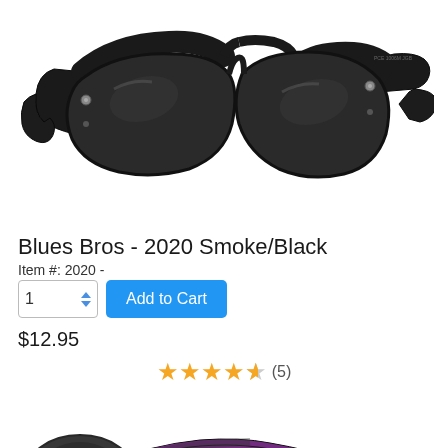[Figure (photo): Black wayfarer-style sunglasses with dark lenses, shown at an angle on white background]
Blues Bros - 2020 Smoke/Black
Item #: 2020 -
1  [Add to Cart]  $12.95
★★★★½ (5)
[Figure (photo): Close-up partial view of black sunglasses arm/temple with purple accent, label visible on arm, cropped at bottom of page]